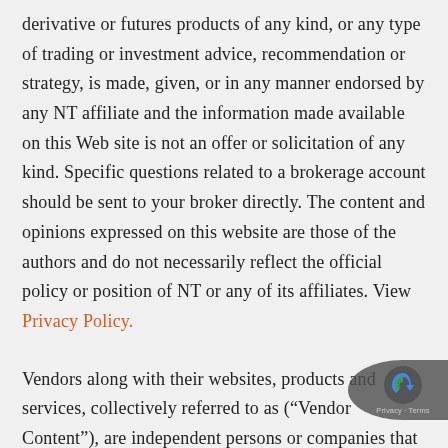derivative or futures products of any kind, or any type of trading or investment advice, recommendation or strategy, is made, given, or in any manner endorsed by any NT affiliate and the information made available on this Web site is not an offer or solicitation of any kind. Specific questions related to a brokerage account should be sent to your broker directly. The content and opinions expressed on this website are those of the authors and do not necessarily reflect the official policy or position of NT or any of its affiliates. View Privacy Policy.
Vendors along with their websites, products and services, collectively referred to as (“Vendor Content”), are independent persons or companies that are in no manner affiliated with NT or any if its affiliates. NT or any of its affiliates are not